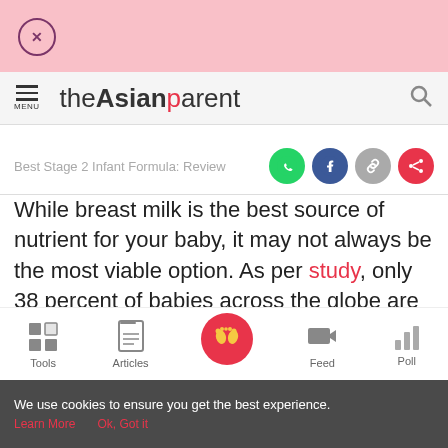theAsianparent
Best Stage 2 Infant Formula: Review
While breast milk is the best source of nutrient for your baby, it may not always be the most viable option. As per study, only 38 percent of babies across the globe are
Tools | Articles | Feed | Poll
We use cookies to ensure you get the best experience. Learn More  Ok, Got it